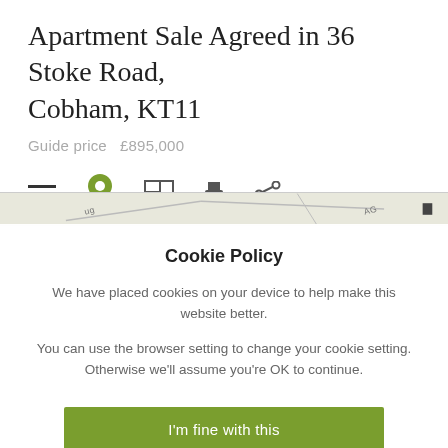Apartment Sale Agreed in 36 Stoke Road, Cobham, KT11
Guide price  £895,000
[Figure (screenshot): Navigation icon bar with hamburger menu, green location pin (active with green underline), floorplan icon, print icon, and share icon]
[Figure (map): Partial map strip showing road lines and text fragments]
Cookie Policy
We have placed cookies on your device to help make this website better.
You can use the browser setting to change your cookie setting. Otherwise we'll assume you're OK to continue.
I'm fine with this